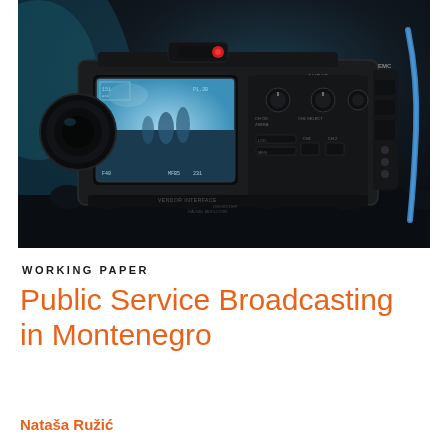[Figure (photo): Close-up photograph of a professional broadcast video camera in a dark setting, with a small monitor showing a stage performance. The camera has various dials and controls visible, with a blue-lit background.]
WORKING PAPER
Public Service Broadcasting in Montenegro
Nataša Ružić